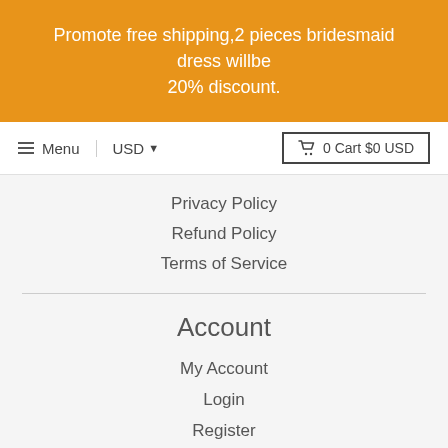Promote free shipping,2 pieces bridesmaid dress willbe 20% discount.
Menu | USD | 0 Cart $0 USD
Privacy Policy
Refund Policy
Terms of Service
Account
My Account
Login
Register
Newsletter
Subscribe to be the first to hear about our exclusive offers and latest arrivals.